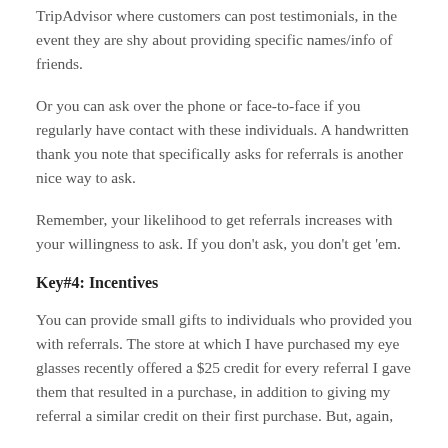TripAdvisor where customers can post testimonials, in the event they are shy about providing specific names/info of friends.
Or you can ask over the phone or face-to-face if you regularly have contact with these individuals. A handwritten thank you note that specifically asks for referrals is another nice way to ask.
Remember, your likelihood to get referrals increases with your willingness to ask. If you don't ask, you don't get 'em.
Key#4: Incentives
You can provide small gifts to individuals who provided you with referrals. The store at which I have purchased my eye glasses recently offered a $25 credit for every referral I gave them that resulted in a purchase, in addition to giving my referral a similar credit on their first purchase. But, again,